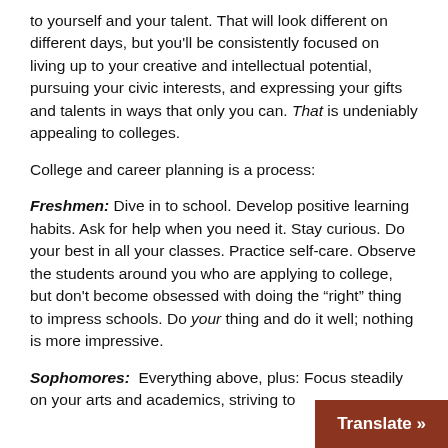to yourself and your talent. That will look different on different days, but you'll be consistently focused on living up to your creative and intellectual potential, pursuing your civic interests, and expressing your gifts and talents in ways that only you can. That is undeniably appealing to colleges.
College and career planning is a process:
Freshmen: Dive in to school. Develop positive learning habits. Ask for help when you need it. Stay curious. Do your best in all your classes. Practice self-care. Observe the students around you who are applying to college, but don't become obsessed with doing the "right" thing to impress schools. Do your thing and do it well; nothing is more impressive.
Sophomores: Everything above, plus: Focus steadily on your arts and academics, striving to...